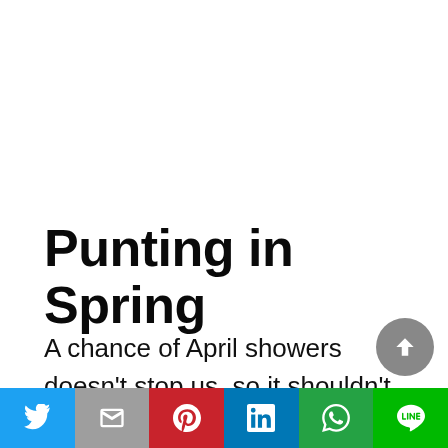Punting in Spring
A chance of April showers doesn’t stop us, so it shouldn’t stop you! We come prepared with large umbrellas to keep you dry whilst you take in the scenery of the newly blossomed flowers amongst the bright green manicured
[Figure (infographic): Social sharing navigation bar at the bottom with icons for Twitter, Gmail/Email, Pinterest, LinkedIn, WhatsApp, and LINE apps]